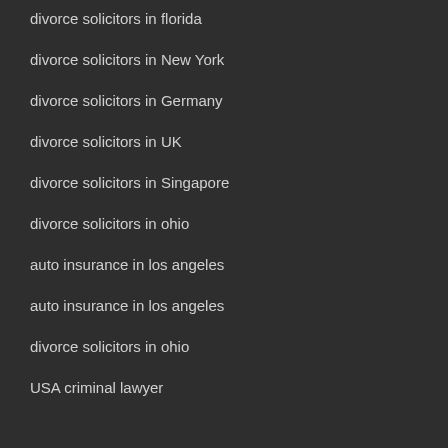divorce solicitors in florida
divorce solicitors in New York
divorce solicitors in Germany
divorce solicitors in UK
divorce solicitors in Singapore
divorce solicitors in ohio
auto insurance in los angeles
auto insurance in los angeles
divorce solicitors in ohio
USA criminal lawyer